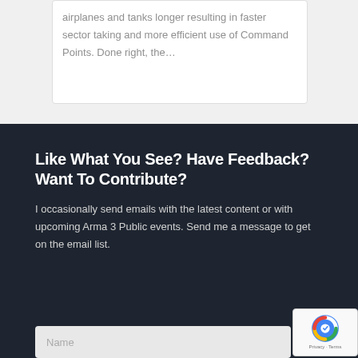airplanes and tanks longer resulting in faster sector taking and more efficient use of Command Points. Done right, the...
Like What You See? Have Feedback? Want To Contribute?
I occasionally send emails with the latest content or with upcoming Arma 3 Public events. Send me a message to get on the email list.
Name